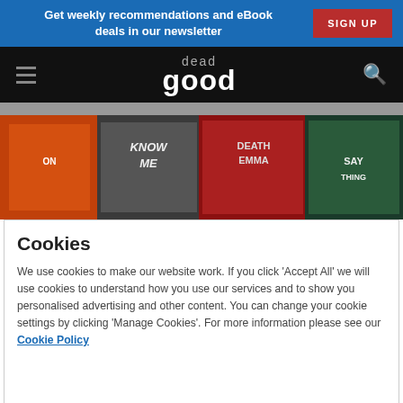Get weekly recommendations and eBook deals in our newsletter  SIGN UP
dead good — navigation bar with hamburger menu and search icon
[Figure (photo): Row of crime/thriller book covers including 'Know Me', 'Death Emma', 'Say Something' and others]
Cookies
We use cookies to make our website work. If you click 'Accept All' we will use cookies to understand how you use our services and to show you personalised advertising and other content. You can change your cookie settings by clicking 'Manage Cookies'. For more information please see our Cookie Policy